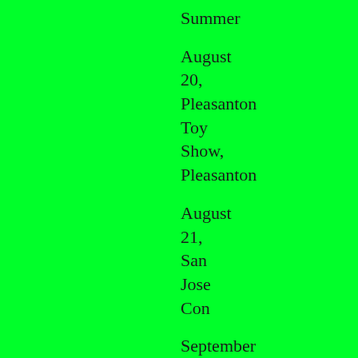Summer
August 20, Pleasanton Toy Show, Pleasanton
August 21, San Jose Con
September 25, California Republic Con, Placerville
October 2, Lodi